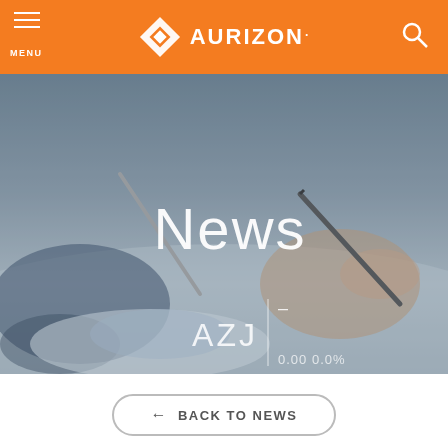MENU | AURIZON | [search]
[Figure (photo): Hero image showing two people writing/signing documents at a desk, with a blue-grey overlay and the word 'News' displayed in white over the photo. Stock ticker showing AZJ 0.00 0.0% overlaid at the bottom.]
← BACK TO NEWS
10 MAY 2016